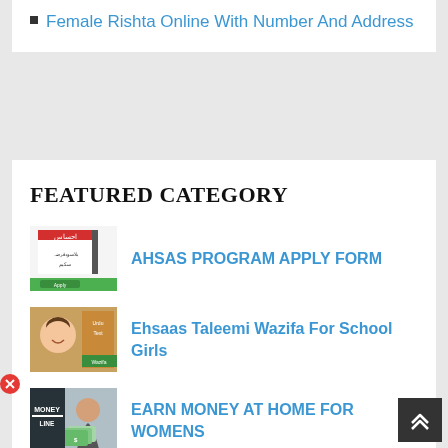Female Rishta Online With Number And Address
FEATURED CATEGORY
[Figure (photo): Ahsas Program logo and promotional image with Urdu text]
AHSAS PROGRAM APPLY FORM
[Figure (photo): Young school girl smiling with Urdu text banner]
Ehsaas Taleemi Wazifa For School Girls
[Figure (photo): Woman holding money with MONEY ONLINE text overlay]
EARN MONEY AT HOME FOR WOMENS